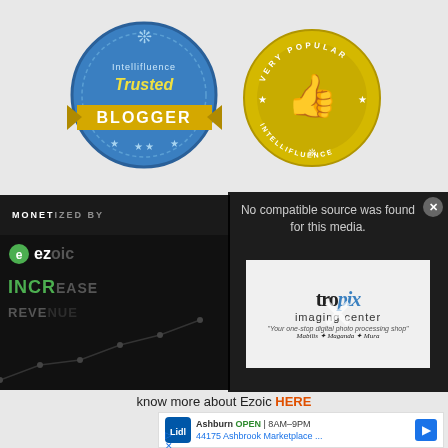[Figure (logo): Intellifluence Trusted Blogger badge - blue circular badge with gold banner saying BLOGGER]
[Figure (logo): Intellifluence Very Popular badge - gold circular badge with thumbs up icon]
MONETIZED BY
[Figure (logo): Ezoic INCREASE REVENUE logo on dark background]
[Figure (screenshot): Media player overlay showing 'No compatible source was found for this media.' with Tropix Imaging Center logo visible behind an X close button]
know more about Ezoic HERE
[Figure (screenshot): Google ad showing Lidl store in Ashburn OPEN 8AM-9PM at 44175 Ashbrook Marketplace]